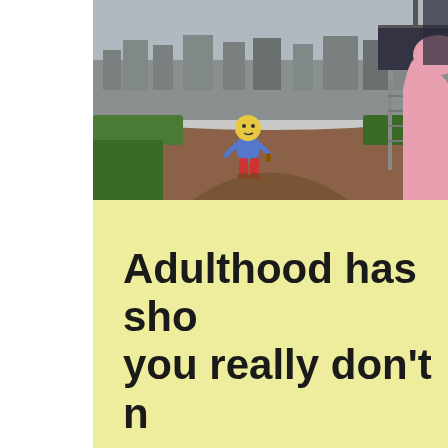[Figure (illustration): Simpsons cartoon scene showing Ralph Wiggum standing alone on a dirt path/road holding something, with buildings in the background and a chain-link fence and a large pink figure partially visible on the right side.]
Adulthood has sho you really don't n